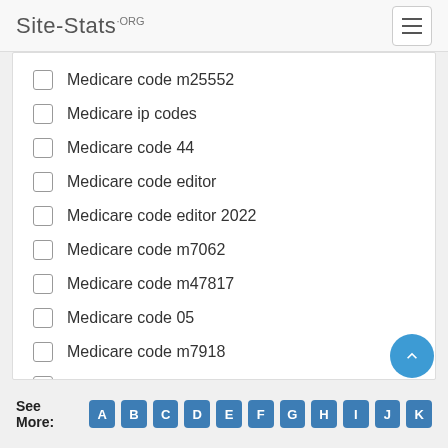Site-Stats.ORG
Medicare code m25552
Medicare ip codes
Medicare code 44
Medicare code editor
Medicare code editor 2022
Medicare code m7062
Medicare code m47817
Medicare code 05
Medicare code m7918
Medicare code m48062
Compare Search  ( Please select at least 2 keywords )
See More: A B C D E F G H I J K